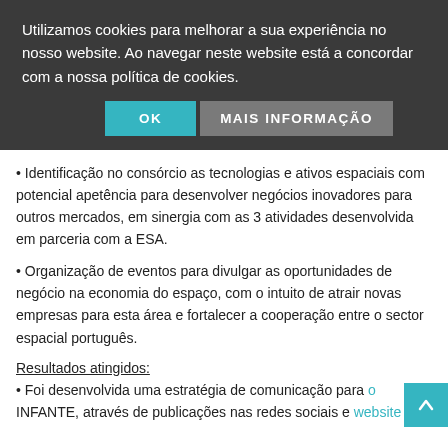Utilizamos cookies para melhorar a sua experiência no nosso website. Ao navegar neste website está a concordar com a nossa política de cookies.
OK
MAIS INFORMAÇÃO
• Identificação no consórcio as tecnologias e ativos espaciais com potencial apetência para desenvolver negócios inovadores para outros mercados, em sinergia com as 3 atividades desenvolvida em parceria com a ESA.
• Organização de eventos para divulgar as oportunidades de negócio na economia do espaço, com o intuito de atrair novas empresas para esta área e fortalecer a cooperação entre o sector espacial português.
Resultados atingidos:
• Foi desenvolvida uma estratégia de comunicação para o INFANTE, através de publicações nas redes sociais e website